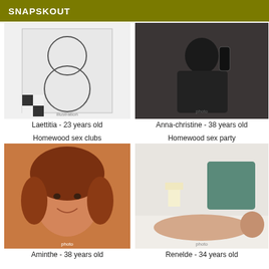SNAPSKOUT
[Figure (photo): Sketch/illustration image for Laettitia profile]
[Figure (photo): Photo of Anna-christine holding a device]
Laettitia - 23 years old
Anna-christine - 38 years old
Homewood sex clubs
Homewood sex party
[Figure (photo): Photo of Aminthe, woman with curly red-brown hair]
[Figure (photo): Photo of Renelde lying on bed]
Aminthe - 38 years old
Renelde - 34 years old